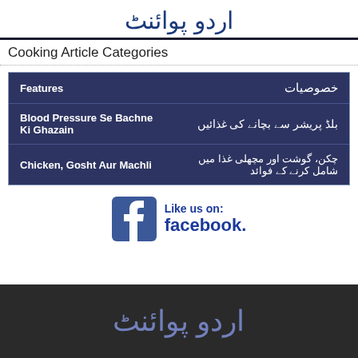اردو پوائنٹ
Cooking Article Categories
| English | Urdu |
| --- | --- |
| Features | خصوصیات |
| Blood Pressure Se Bachne Ki Ghazain | بلڈ پریشر سے بچانے کی غذائیں |
| Chicken, Gosht Aur Machli | چکن، گوشت اور مچھلی غذا میں شامل کرنے کے فوائد |
[Figure (logo): Like us on Facebook logo with Facebook icon]
اردو پوائنٹ